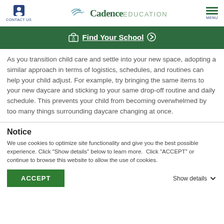CONTACT US | Cadence EDUCATION | MENU
[Figure (screenshot): Green banner with school icon and 'Find Your School' link with arrow]
As you transition child care and settle into your new space, adopting a similar approach in terms of logistics, schedules, and routines can help your child adjust. For example, try bringing the same items to your new daycare and sticking to your same drop-off routine and daily schedule. This prevents your child from becoming overwhelmed by too many things surrounding daycare changing at once.
Notice
We use cookies to optimize site functionality and give you the best possible experience. Click "Show details" below to learn more.  Click "ACCEPT" or continue to browse this website to allow the use of cookies.
ACCEPT | Show details